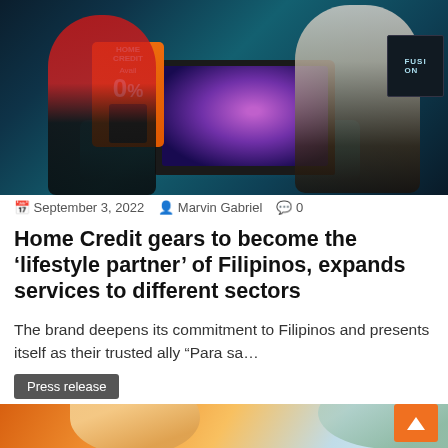[Figure (photo): Photo of two masked people at a consumer electronics retail display with an orange Home Credit 0% sign and a laptop on a glowing table]
September 3, 2022  Marvin Gabriel  0
Home Credit gears to become the ‘lifestyle partner’ of Filipinos, expands services to different sectors
The brand deepens its commitment to Filipinos and presents itself as their trusted ally “Para sa…
Press release
[Figure (photo): Photo of a hand holding colorful envelopes or cards with palm leaves and warm orange tones in the background]